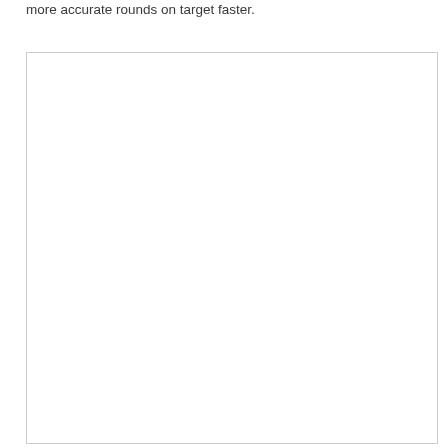more accurate rounds on target faster.
[Figure (photo): A large white/blank rectangular image placeholder with a thin light gray border.]